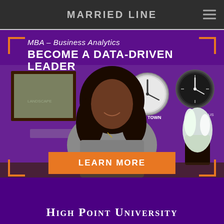MARRIED LINE
[Figure (illustration): High Point University MBA Business Analytics advertisement. Purple background with a smiling woman in a professional setting. Text: 'MBA – Business Analytics', 'BECOME A DATA-DRIVEN LEADER', 'LEARN MORE', 'HIGH POINT UNIVERSITY'. Orange corner brackets frame the image. Office background with clocks labeled CAPE TOWN.]